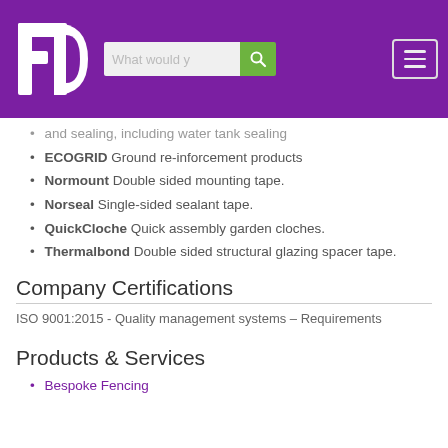FD logo with search bar and menu
and sealing, including water tank sealing
ECOGRID Ground re-inforcement products
Normount Double sided mounting tape.
Norseal Single-sided sealant tape.
QuickCloche Quick assembly garden cloches.
Thermalbond Double sided structural glazing spacer tape.
Company Certifications
ISO 9001:2015 - Quality management systems – Requirements
Products & Services
Bespoke Fencing